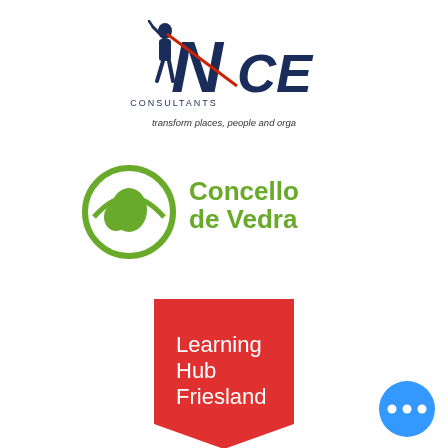[Figure (logo): INCE Consultants logo with silhouette figure and text 'transform places, people and orga']
[Figure (logo): Concello de Vedra logo with green circular emblem and text 'Concello de Vedra']
[Figure (logo): Learning Hub Friesland logo — red pentagon shape with white text]
[Figure (logo): Formetica logo — blue rectangle with white text 'FORMETICA' and tagline 'I VALORI DELLA FORMAZIONE']